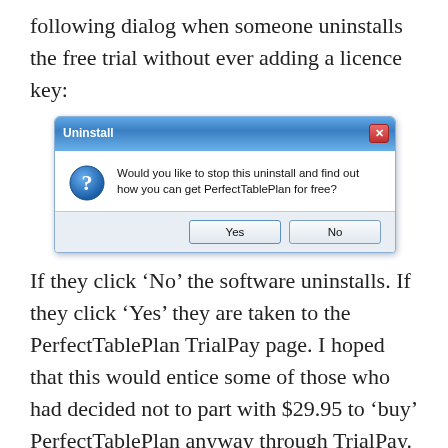following dialog when someone uninstalls the free trial without ever adding a licence key:
[Figure (screenshot): Windows-style dialog box titled 'Uninstall' with a question mark icon and the text 'Would you like to stop this uninstall and find out how you can get PerfectTablePlan for free?' with Yes and No buttons.]
If they click ‘No’ the software uninstalls. If they click ‘Yes’ they are taken to the PerfectTablePlan TrialPay page. I hoped that this would entice some of those who had decided not to part with $29.95 to ‘buy’ PerfectTablePlan anyway through TrialPay.